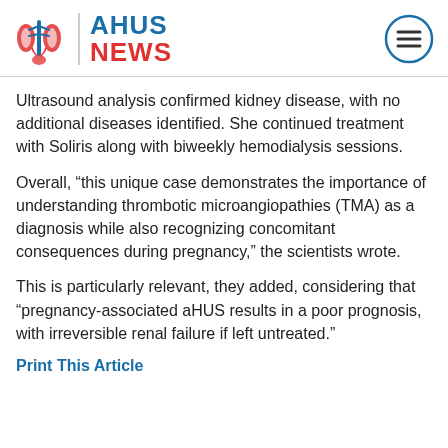AHUS NEWS
Ultrasound analysis confirmed kidney disease, with no additional diseases identified. She continued treatment with Soliris along with biweekly hemodialysis sessions.
Overall, “this unique case demonstrates the importance of understanding thrombotic microangiopathies (TMA) as a diagnosis while also recognizing concomitant consequences during pregnancy,” the scientists wrote.
This is particularly relevant, they added, considering that “pregnancy-associated aHUS results in a poor prognosis, with irreversible renal failure if left untreated.”
Print This Article